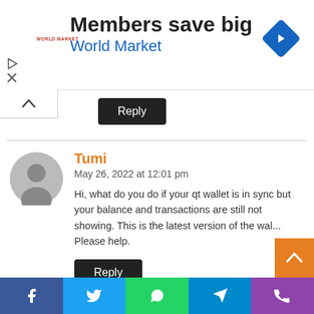[Figure (screenshot): Advertisement banner for World Market with blue diamond navigation icon. Text says 'Members save big' and 'World Market' in blue.]
Reply
Tumi
May 26, 2022 at 12:01 pm
Hi, what do you do if your qt wallet is in sync but your balance and transactions are still not showing. This is the latest version of the wal... Please help.
Reply
[Figure (screenshot): Social media sharing bar with Facebook, Twitter, WhatsApp, Telegram, and Phone icons.]